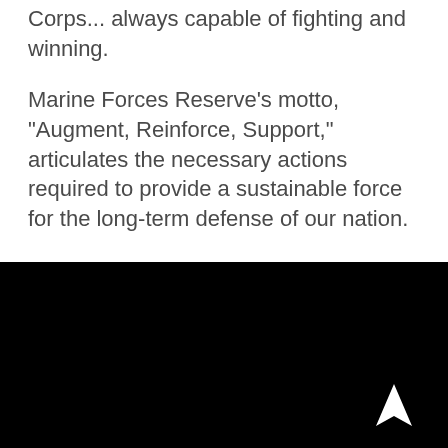Corps... always capable of fighting and winning.
Marine Forces Reserve's motto, "Augment, Reinforce, Support," articulates the necessary actions required to provide a sustainable force for the long-term defense of our nation.
[Figure (photo): Black background section with a white navigation arrow icon in the lower right corner]